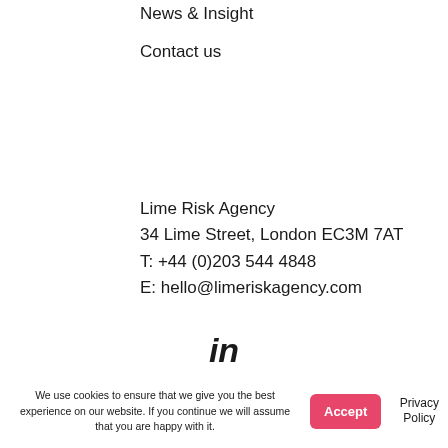News & Insight
Contact us
Lime Risk Agency
34 Lime Street, London EC3M 7AT
T: +44 (0)203 544 4848
E: hello@limeriskagency.com
[Figure (logo): LinkedIn logo icon — stylized 'in' letters in dark color]
We use cookies to ensure that we give you the best experience on our website. If you continue we will assume that you are happy with it.
Accept
Privacy Policy